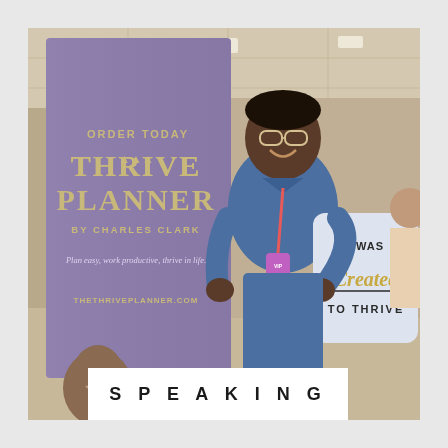[Figure (photo): A man wearing glasses and a blue denim shirt stands smiling next to a purple pull-up banner reading 'ORDER TODAY THRIVE PLANNER BY CHARLES CLARK – Plan easy, work productive, thrive in life. THETHRIVEPLANNER.COM'. He holds a white card sign reading 'I WAS Created TO THRIVE'. The photo is taken indoors at what appears to be a conference or event.]
SPEAKING